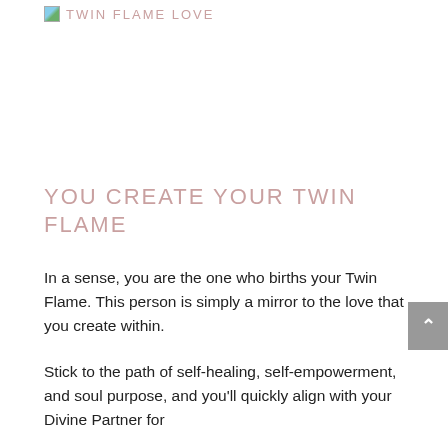TWIN FLAME LOVE
YOU CREATE YOUR TWIN FLAME
In a sense, you are the one who births your Twin Flame. This person is simply a mirror to the love that you create within.
Stick to the path of self-healing, self-empowerment, and soul purpose, and you'll quickly align with your Divine Partner for